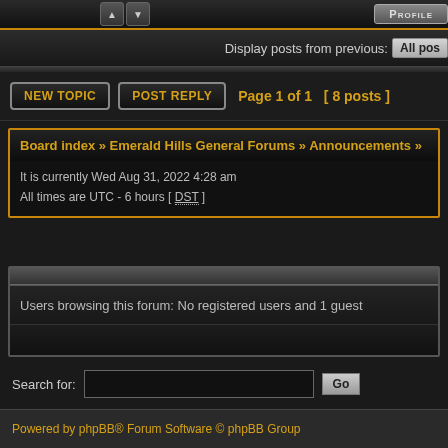Display posts from previous: All posts
New Topic  Post Reply  Page 1 of 1 [ 8 posts ]
Board index » Emerald Hills General Forums » Announcements »
It is currently Wed Aug 31, 2022 4:28 am
All times are UTC - 6 hours [ DST ]
Users browsing this forum: No registered users and 1 guest
Search for:  [input]  Go
Powered by phpBB® Forum Software © phpBB Group